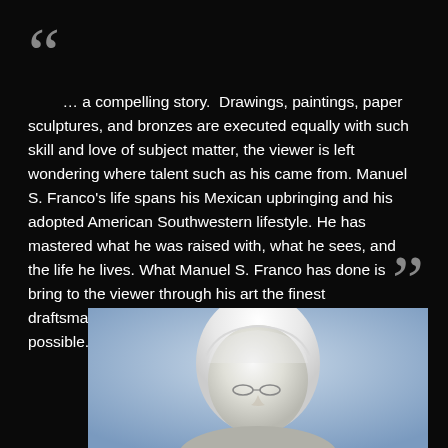… a compelling story.  Drawings, paintings, paper sculptures, and bronzes are executed equally with such skill and love of subject matter, the viewer is left wondering where talent such as his came from. Manuel S. Franco's life spans his Mexican upbringing and his adopted American Southwestern lifestyle. He has mastered what he was raised with, what he sees, and the life he lives. What Manuel S. Franco has done is bring to the viewer through his art the finest draftsmanship, exquisite color, and stunning design possible.
[Figure (photo): Black and white portrait photo of an older person with white/light hair and glasses, set against a light blue-gray background, cropped to show head and upper shoulders]